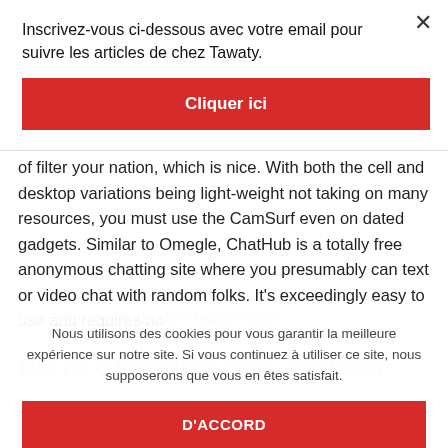of filter your nation, which is nice. With both the cell and desktop variations being light-weight not taking on many resources, you must use the CamSurf even on dated gadgets. Similar to Omegle, ChatHub is a totally free anonymous chatting site where you presumably can text or video chat with random folks. It's exceedingly easy to use and requires no
Nous utilisons des cookies pour vous garantir la meilleure expérience sur notre site. Si vous continuez à utiliser ce site, nous supposerons que vous en êtes satisfait.
D'ACCORD
Inscrivez-vous ci-dessous avec votre email pour suivre les articles de chez Tawaty.
Cliquer ici